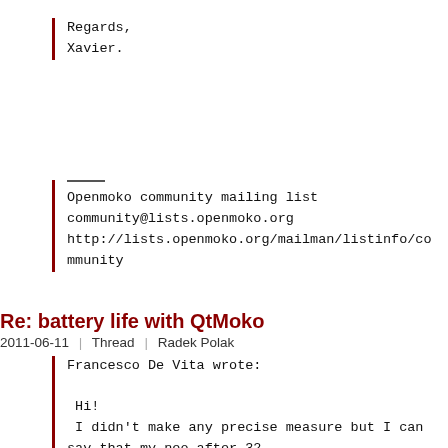Regards,
Xavier.
Openmoko community mailing list
community@lists.openmoko.org
http://lists.openmoko.org/mailman/listinfo/community
Re: battery life with QtMoko
2011-06-11 | Thread | Radek Polak
Francesco De Vita wrote:

 Hi!
 I didn't make any precise measure but I can say that my neo after 32
 hours is in (very) low battery, I only sent few messages (sms) and I